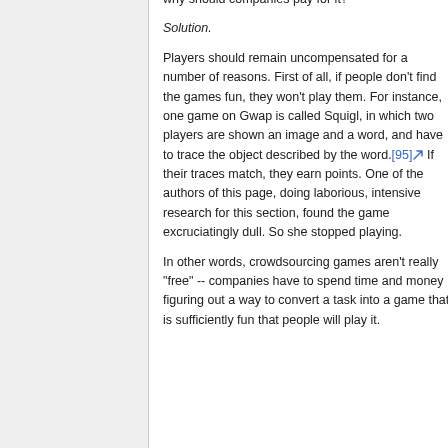why should companies pay for it?
Solution.
Players should remain uncompensated for a number of reasons. First of all, if people don't find the games fun, they won't play them. For instance, one game on Gwap is called Squigl, in which two players are shown an image and a word, and have to trace the object described by the word.[95] If their traces match, they earn points. One of the authors of this page, doing laborious, intensive research for this section, found the game excruciatingly dull. So she stopped playing.
In other words, crowdsourcing games aren't really "free" -- companies have to spend time and money figuring out a way to convert a task into a game that is sufficiently fun that people will play it.